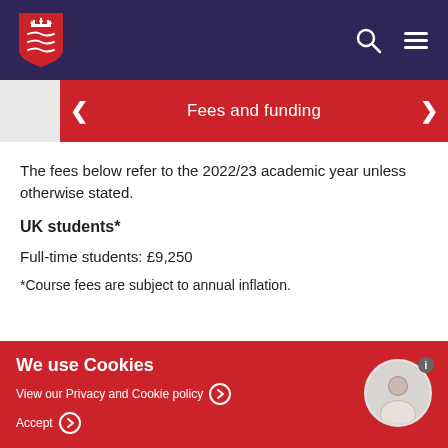University navigation header with logo, search, and menu icons
Fees and funding
The fees below refer to the 2022/23 academic year unless otherwise stated.
UK students*
Full-time students: £9,250
*Course fees are subject to annual inflation.
We use Cookies — View our Privacy and Cookie policy — Accept